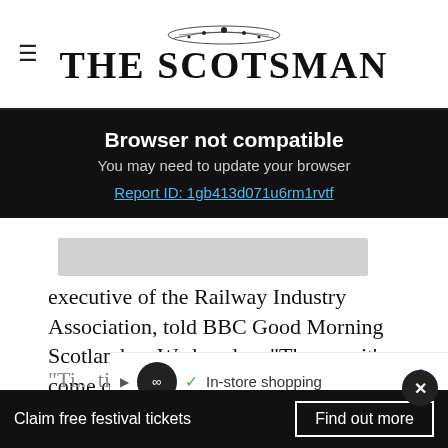THE SCOTSMAN
Browser not compatible
You may need to update your browser
Report ID: 1gb413d071u6rm1rvtf
[Figure (other): Grey image placeholder bar]
executive of the Railway Industry Association, told BBC Good Morning Scotland on Wednesday: "The way it’s come out is a pretty negative start to it all.
"Ti... timing of this and it’s not a very good way to
[Figure (infographic): Advertisement banner: In-store shopping ad with circular logo icon and diamond navigation icon]
Claim free festival tickets
Find out more